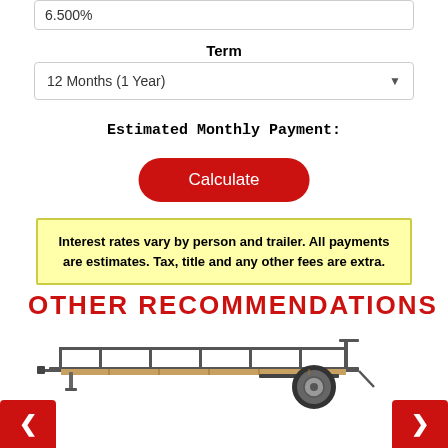6.500%
Term
12 Months (1 Year)
Estimated Monthly Payment:
Calculate
Interest rates vary by person and trailer. All payments are estimates. Tax, title and any other fees are extra.
OTHER RECOMMENDATIONS
[Figure (photo): A utility trailer with metal frame, wood deck floor, side rails, and single axle with one wheel visible on the right side.]
< (left navigation button)
> (right navigation button)